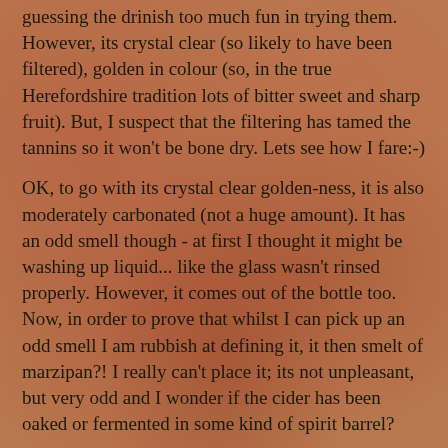guessing the drinish too much fun in trying them. However, its crystal clear (so likely to have been filtered), golden in colour (so, in the true Herefordshire tradition lots of bitter sweet and sharp fruit). But, I suspect that the filtering has tamed the tannins so it won't be bone dry. Lets see how I fare:-)
OK, to go with its crystal clear golden-ness, it is also moderately carbonated (not a huge amount). It has an odd smell though - at first I thought it might be washing up liquid... like the glass wasn't rinsed properly. However, it comes out of the bottle too. Now, in order to prove that whilst I can pick up an odd smell I am rubbish at defining it, it then smelt of marzipan?! I really can't place it; its not unpleasant, but very odd and I wonder if the cider has been oaked or fermented in some kind of spirit barrel?
The taste confirms the odd flavour but also makes me wonder what varieties were used to produce the cider. Again, its not unpleasant but I was a bit distracted with it which limited my enjoyment. Just as well its in a bigger bottle too, as it gives me the chance to get a second opinion.
So. My second opinion.